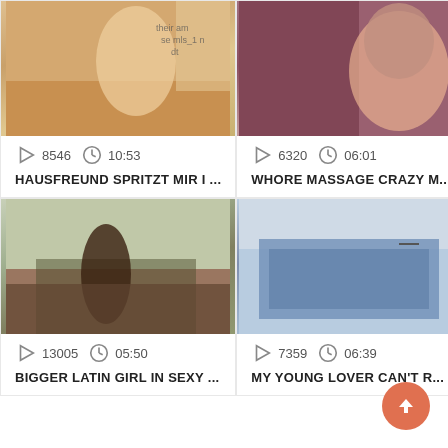[Figure (screenshot): Video thumbnail: blonde woman, indoor setting]
8546   10:53
HAUSFREUND SPRITZT MIR I...
[Figure (screenshot): Video thumbnail: brunette woman, indoor setting]
6320   06:01
WHORE MASSAGE CRAZY M...
[Figure (screenshot): Video thumbnail: woman on balcony outdoors]
13005   05:50
BIGGER LATIN GIRL IN SEXY ...
[Figure (screenshot): Video thumbnail: denim jacket on bed]
7359   06:39
MY YOUNG LOVER CAN'T R...